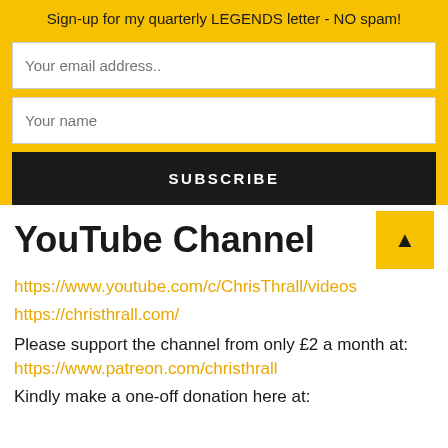Sign-up for my quarterly LEGENDS letter - NO spam!
[Figure (screenshot): Email signup form with 'Your email address..' input, 'Your name' input, and a black SUBSCRIBE button on a yellow background]
YouTube Channel
https://www.youtube.com/c/ChrisThrall/videos
https://christhrall.com/
Please support the channel from only £2 a month at:
https://www.patreon.com/christhrall
Kindly make a one-off donation here at: